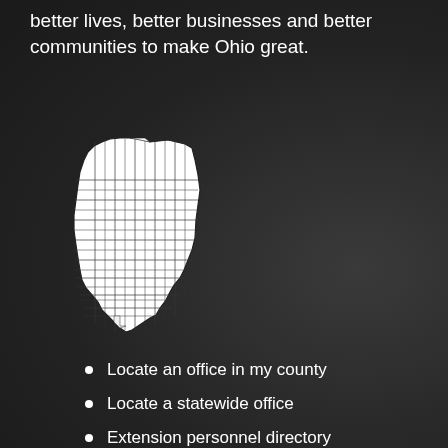better lives, better businesses and better communities to make Ohio great.
[Figure (map): Map of Ohio showing county boundaries, white fill with black outlines on dark background]
Locate an office in my county
Locate a statewide office
Extension personnel directory